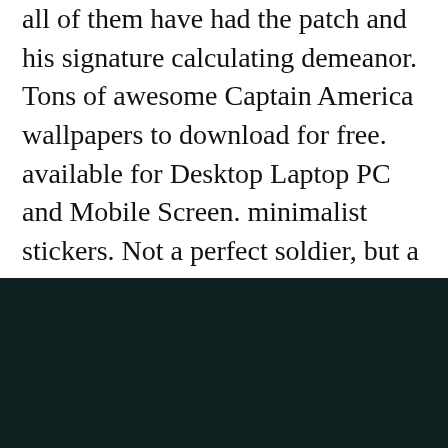all of them have had the patch and his signature calculating demeanor. Tons of awesome Captain America wallpapers to download for free. available for Desktop Laptop PC and Mobile Screen. minimalist stickers. Not a perfect soldier, but a good man. Cookie & Privacy Policy Captain America Minimalist Wallpaper. Nov 25, 2016 – Creative Poster Design Inspiration 2011 – Today, we bring you a list some brilliantly designed posters guaranteed to leave you inspired.
[Figure (photo): A dark teal/near-black rectangular image block occupying the bottom portion of the page.]